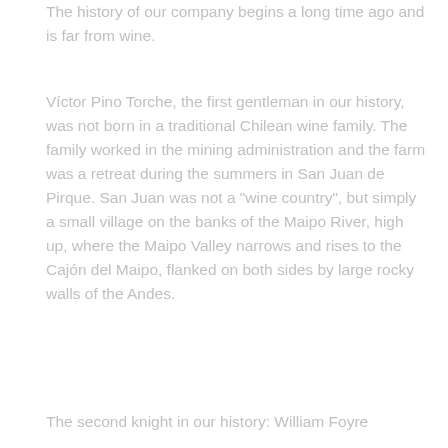The history of our company begins a long time ago and is far from wine.
Víctor Pino Torche, the first gentleman in our history, was not born in a traditional Chilean wine family. The family worked in the mining administration and the farm was a retreat during the summers in San Juan de Pirque. San Juan was not a “wine country”, but simply a small village on the banks of the Maipo River, high up, where the Maipo Valley narrows and rises to the Cajón del Maipo, flanked on both sides by large rocky walls of the Andes.
The second knight in our history: William Foyre...